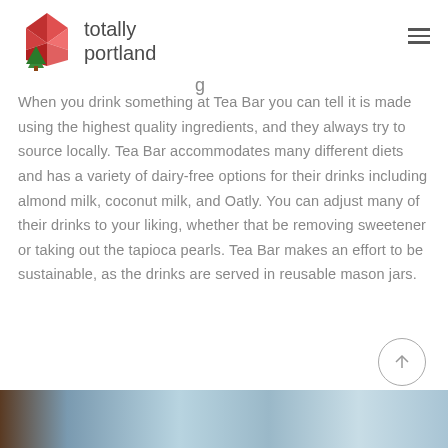totally portland
When you drink something at Tea Bar you can tell it is made using the highest quality ingredients, and they always try to source locally. Tea Bar accommodates many different diets and has a variety of dairy-free options for their drinks including almond milk, coconut milk, and Oatly. You can adjust many of their drinks to your liking, whether that be removing sweetener or taking out the tapioca pearls. Tea Bar makes an effort to be sustainable, as the drinks are served in reusable mason jars.
[Figure (photo): Photo of a drink in a mason jar at Tea Bar, partially visible at the bottom of the page]